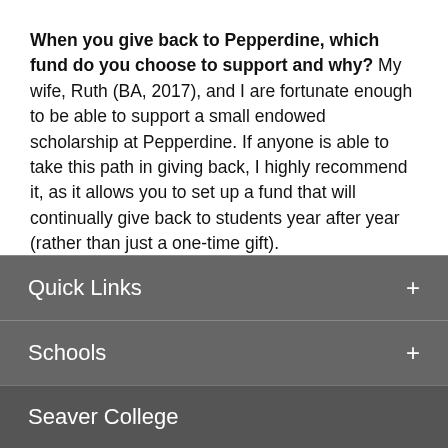When you give back to Pepperdine, which fund do you choose to support and why? My wife, Ruth (BA, 2017), and I are fortunate enough to be able to support a small endowed scholarship at Pepperdine. If anyone is able to take this path in giving back, I highly recommend it, as it allows you to set up a fund that will continually give back to students year after year (rather than just a one-time gift).
Quick Links +
Schools +
Seaver College